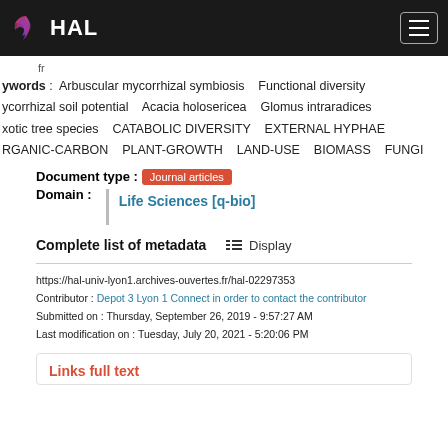HAL
fr
Keywords : Arbuscular mycorrhizal symbiosis  Functional diversity  Mycorrhizal soil potential  Acacia holosericea  Glomus intraradices  Exotic tree species  CATABOLIC DIVERSITY  EXTERNAL HYPHAE  ORGANIC-CARBON  PLANT-GROWTH  LAND-USE  BIOMASS  FUNGI
Document type : Journal articles
Domain : Life Sciences [q-bio]
Complete list of metadata  Display
https://hal-univ-lyon1.archives-ouvertes.fr/hal-02297353
Contributor : Depot 3 Lyon 1 Connect in order to contact the contributor
Submitted on : Thursday, September 26, 2019 - 9:57:27 AM
Last modification on : Tuesday, July 20, 2021 - 5:20:06 PM
Links full text